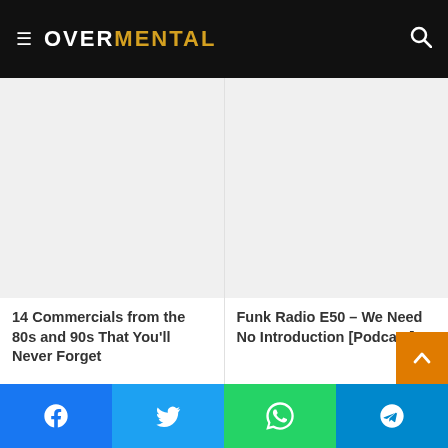OVERMENTAL
[Figure (other): Blank image placeholder for article: 14 Commercials from the 80s and 90s That You'll Never Forget]
14 Commercials from the 80s and 90s That You'll Never Forget
[Figure (other): Blank image placeholder for article: Funk Radio E50 – We Need No Introduction [Podcast]]
Funk Radio E50 – We Need No Introduction [Podcast]